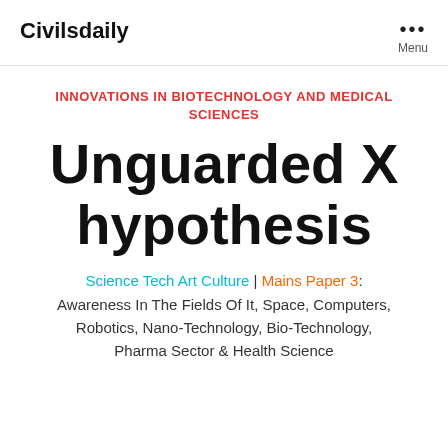Civilsdaily | Menu
INNOVATIONS IN BIOTECHNOLOGY AND MEDICAL SCIENCES
Unguarded X hypothesis
Science Tech Art Culture | Mains Paper 3: Awareness In The Fields Of It, Space, Computers, Robotics, Nano-Technology, Bio-Technology, Pharma Sector & Health Science